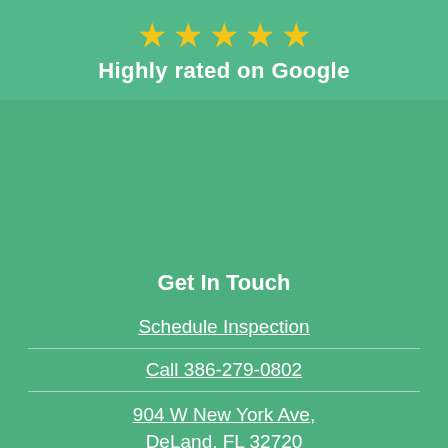[Figure (infographic): Five yellow star rating icons in a row]
Highly rated on Google
Get In Touch
Schedule Inspection
Call 386-279-0802
904 W New York Ave, DeLand, FL 32720
Company